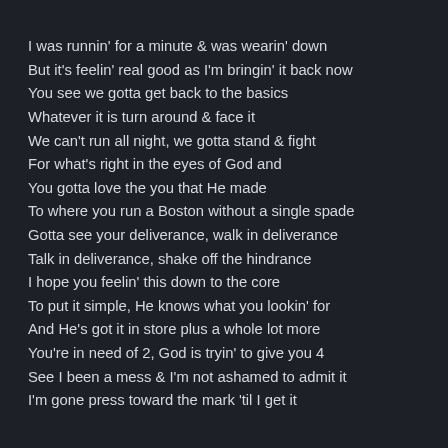I was runnin' for a minute & was wearin' down
But it's feelin' real good as I'm bringin' it back now
You see we gotta get back to the basics
Whatever it is turn around & face it
We can't run all night, we gotta stand & fight
For what's right in the eyes of God and
You gotta love the you that He made
To where you run a Boston without a single spade
Gotta see your deliverance, walk in deliverance
Talk in deliverance, shake off the hindrance
I hope you feelin' this down to the core
To put it simple, He knows what you lookin' for
And He's got it in store plus a whole lot more
You're in need of 2, God is tryin' to give you 4
See I been a mess & I'm not ashamed to admit it
I'm gone press toward the mark 'til I get it